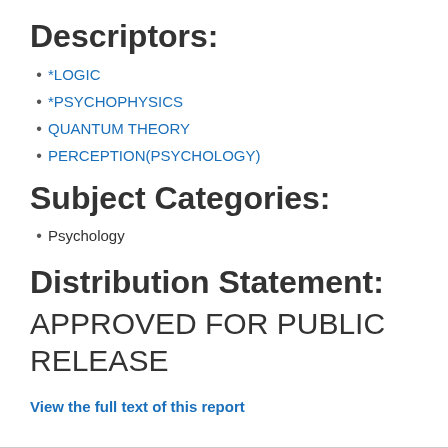Descriptors:
*LOGIC
*PSYCHOPHYSICS
QUANTUM THEORY
PERCEPTION(PSYCHOLOGY)
Subject Categories:
Psychology
Distribution Statement:
APPROVED FOR PUBLIC RELEASE
View the full text of this report